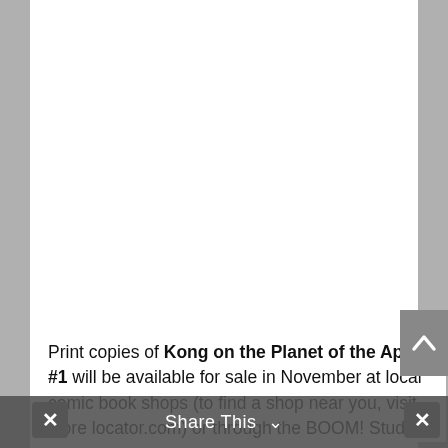[Figure (other): Large white blank area representing a comic book page image (Kong on the Planet of the Apes #1 comic page, content not visible)]
Print copies of Kong on the Planet of the Apes #1 will be available for sale in November at local comic book shops (to find a shop near you, visit [store locator.com]) or through the BOOM! Studios
Share This ∨